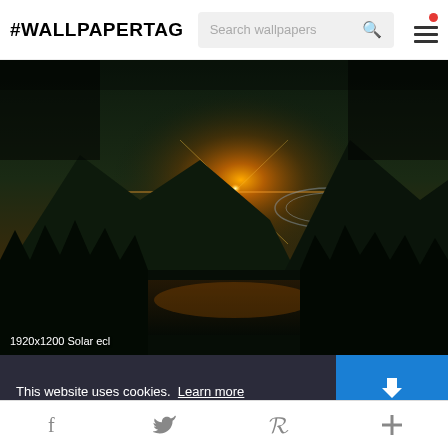#WALLPAPERTAG
[Figure (screenshot): Wallpaper website screenshot showing a solar eclipse over mountain silhouettes with a lake reflection. Dark atmospheric digital art with orange glow. Label: 1920x1200 Solar ecl]
1920x1200 Solar ecl
This website uses cookies. Learn more
Got it!